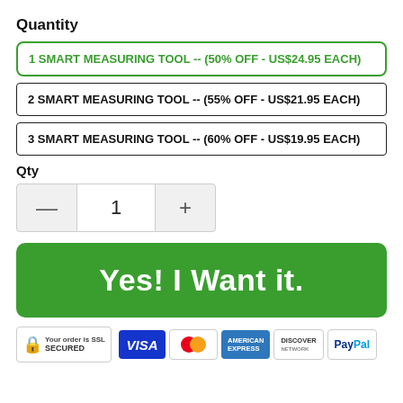Quantity
1 SMART MEASURING TOOL -- (50% OFF - US$24.95 EACH)
2 SMART MEASURING TOOL -- (55% OFF - US$21.95 EACH)
3 SMART MEASURING TOOL -- (60% OFF - US$19.95 EACH)
Qty
[Figure (other): Quantity stepper control showing minus button, value 1, plus button]
Yes! I Want it.
[Figure (other): Payment security bar showing SSL Secured badge, VISA, MasterCard, American Express, Discover, PayPal logos]